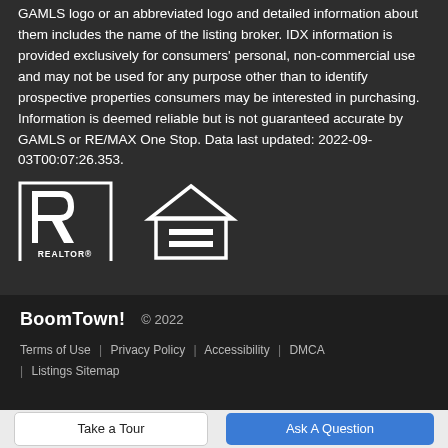GAMLS logo or an abbreviated logo and detailed information about them includes the name of the listing broker. IDX information is provided exclusively for consumers' personal, non-commercial use and may not be used for any purpose other than to identify prospective properties consumers may be interested in purchasing. Information is deemed reliable but is not guaranteed accurate by GAMLS or RE/MAX One Stop. Data last updated: 2022-09-03T00:07:26.353.
[Figure (logo): Realtor logo (white R with REALTOR text) and Equal Housing Opportunity logo (house with equals sign), both white on dark background]
BoomTown! © 2022
Terms of Use | Privacy Policy | Accessibility | DMCA | Listings Sitemap
Take a Tour
Ask A Question